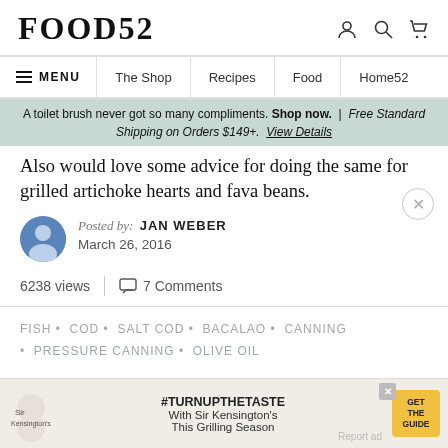FOOD52
≡ MENU | The Shop | Recipes | Food | Home52
A toilet brush never got so many compliments. Shop now. | Free Standard Shipping on Orders $149+. View Details
Also would love some advice for doing the same for grilled artichoke hearts and fava beans.
Posted by: JAN WEBER
March 26, 2016
6238 views | 7 Comments
FISH • COD • SALT COD • BACALAO • CANNING • PRESSURE CANNING • OLIVE OIL
[Figure (screenshot): Sir Kensington's advertisement banner with #TURNUPTHETASTE text and yellow GET THE GUIDE button]